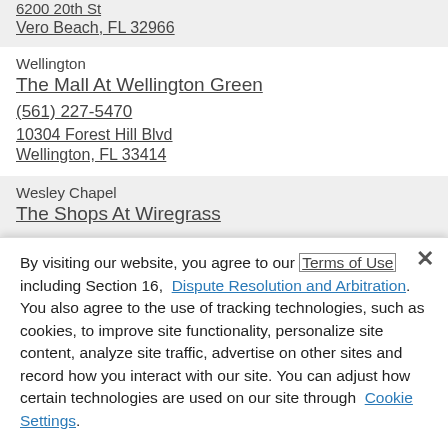6200 20th St
Vero Beach, FL 32966
Wellington
The Mall At Wellington Green
(561) 227-5470
10304 Forest Hill Blvd
Wellington, FL 33414
Wesley Chapel
The Shops At Wiregrass
By visiting our website, you agree to our Terms of Use including Section 16, Dispute Resolution and Arbitration. You also agree to the use of tracking technologies, such as cookies, to improve site functionality, personalize site content, analyze site traffic, advertise on other sites and record how you interact with our site. You can adjust how certain technologies are used on our site through Cookie Settings.